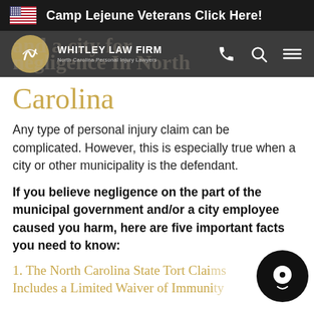Camp Lejeune Veterans Click Here!
[Figure (logo): Whitley Law Firm logo with navigation bar showing phone, search, and menu icons]
Carolina
Any type of personal injury claim can be complicated. However, this is especially true when a city or other municipality is the defendant.
If you believe negligence on the part of the municipal government and/or a city employee caused you harm, here are five important facts you need to know:
1. The North Carolina State Tort Claims Includes a Limited Waiver of Immunity...